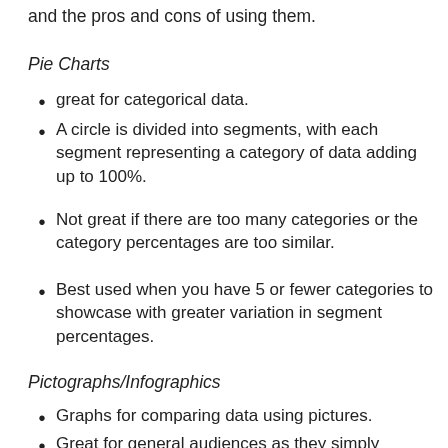and the pros and cons of using them.
Pie Charts
great for categorical data.
A circle is divided into segments, with each segment representing a category of data adding up to 100%.
Not great if there are too many categories or the category percentages are too similar.
Best used when you have 5 or fewer categories to showcase with greater variation in segment percentages.
Pictographs/Infographics
Graphs for comparing data using pictures.
Great for general audiences as they simply